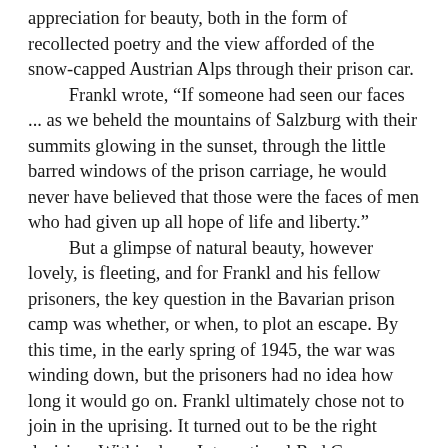appreciation for beauty, both in the form of recollected poetry and the view afforded of the snow-capped Austrian Alps through their prison car.
	Frankl wrote, “If someone had seen our faces ... as we beheld the mountains of Salzburg with their summits glowing in the sunset, through the little barred windows of the prison carriage, he would never have believed that those were the faces of men who had given up all hope of life and liberty.”
	But a glimpse of natural beauty, however lovely, is fleeting, and for Frankl and his fellow prisoners, the key question in the Bavarian prison camp was whether, or when, to plot an escape. By this time, in the early spring of 1945, the war was winding down, but the prisoners had no idea how long it would go on. Frankl ultimately chose not to join in the uprising. It turned out to be the right decision. Within days, International Red Cross vehicles arrived with food and medicine for the emaciated prisoners.